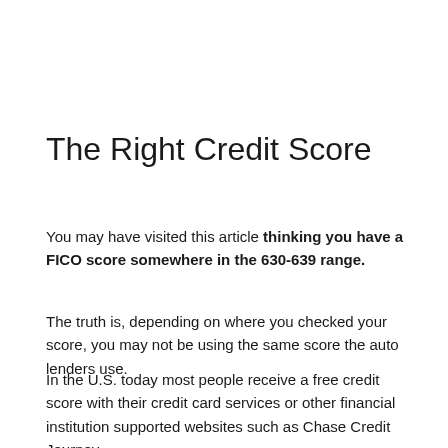The Right Credit Score
You may have visited this article thinking you have a FICO score somewhere in the 630-639 range.
The truth is, depending on where you checked your score, you may not be using the same score the auto lenders use.
In the U.S. today most people receive a free credit score with their credit card services or other financial institution supported websites such as Chase Credit Journey.